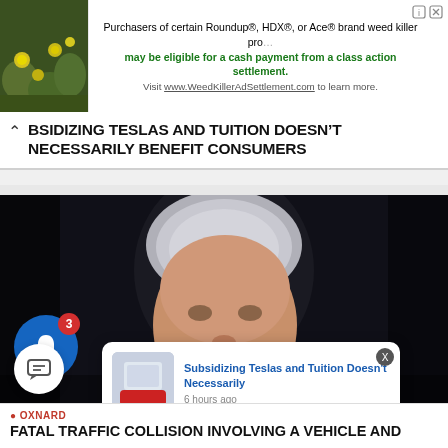[Figure (screenshot): Advertisement banner for WeedKillerAdSettlement.com with photo of yellow flowers on the left and text about Roundup, HDX, Ace brand weed killer class action settlement]
BSIDIZING TESLAS AND TUITION DOESN'T NECESSARILY BENEFIT CONSUMERS
[Figure (photo): Portrait photo of a smiling older woman with short gray/white hair against a dark background]
[Figure (screenshot): Push notification popup: 'Subsidizing Teslas and Tuition Doesn't Necessarily' - 6 hours ago, with notification bell showing badge 3]
OXNARD
FATAL TRAFFIC COLLISION INVOLVING A VEHICLE AND